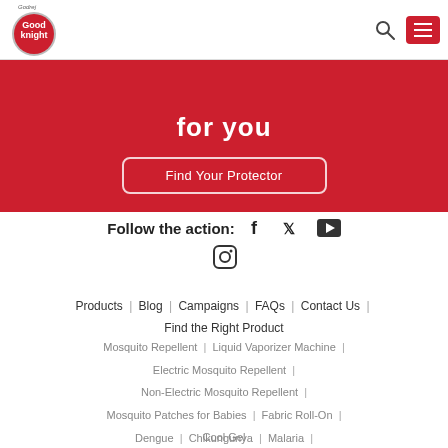[Figure (logo): Good knight brand logo - red circular logo with Godrej branding]
for you
Find Your Protector
Follow the action:
Products | Blog | Campaigns | FAQs | Contact Us | Find the Right Product
Mosquito Repellent | Liquid Vaporizer Machine | Electric Mosquito Repellent | Non-Electric Mosquito Repellent | Mosquito Patches for Babies | Fabric Roll-On | Cool Gel
Dengue | Chikungunya | Malaria |